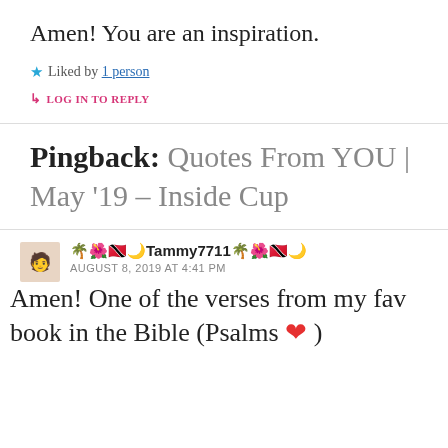Amen! You are an inspiration.
★ Liked by 1 person
↳ LOG IN TO REPLY
Pingback: Quotes From YOU | May '19 – Inside Cup
🌴🌺🇹🇹🌙Tammy7711🌴🌺🇹🇹🌙
AUGUST 8, 2019 AT 4:41 PM
Amen! One of the verses from my fav book in the Bible (Psalms ❤ )